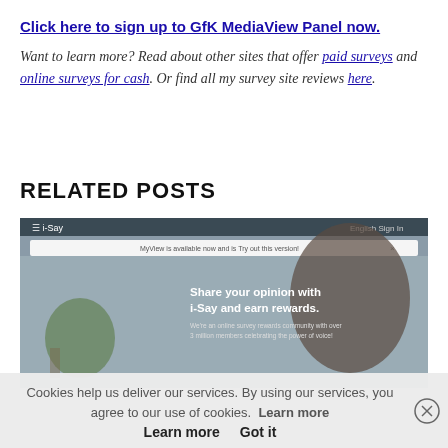Click here to sign up to GfK MediaView Panel now.
Want to learn more? Read about other sites that offer paid surveys and online surveys for cash. Or find all my survey site reviews here.
RELATED POSTS
[Figure (screenshot): Screenshot of i-Say website showing 'Share your opinion with i-Say and earn rewards.' with a person in the background]
Cookies help us deliver our services. By using our services, you agree to our use of cookies. Learn more  Got it
Paid Surveys Reviews: Ipsos i-Say Review